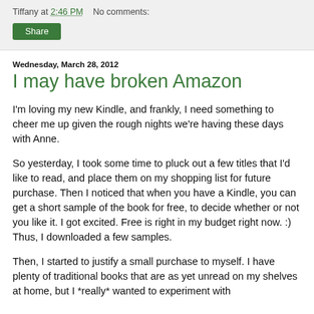Tiffany at 2:46 PM   No comments:
Share
Wednesday, March 28, 2012
I may have broken Amazon
I'm loving my new Kindle, and frankly, I need something to cheer me up given the rough nights we're having these days with Anne.
So yesterday, I took some time to pluck out a few titles that I'd like to read, and place them on my shopping list for future purchase. Then I noticed that when you have a Kindle, you can get a short sample of the book for free, to decide whether or not you like it. I got excited. Free is right in my budget right now. :) Thus, I downloaded a few samples.
Then, I started to justify a small purchase to myself. I have plenty of traditional books that are as yet unread on my shelves at home, but I *really* wanted to experiment with